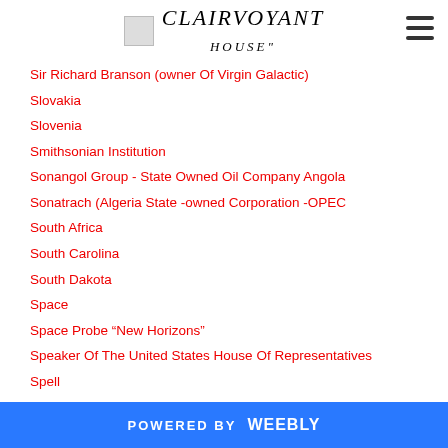CLAIRVOYANT
Sir Richard Branson (owner Of Virgin Galactic)
Slovakia
Slovenia
Smithsonian Institution
Sonangol Group - State Owned Oil Company Angola
Sonatrach (Algeria State -owned Corporation -OPEC
South Africa
South Carolina
South Dakota
Space
Space Probe "New Horizons"
Speaker Of The United States House Of Representatives
Spell
Spiritual Teacher
Sputnik V Coronavirus Vaccine
POWERED BY weebly